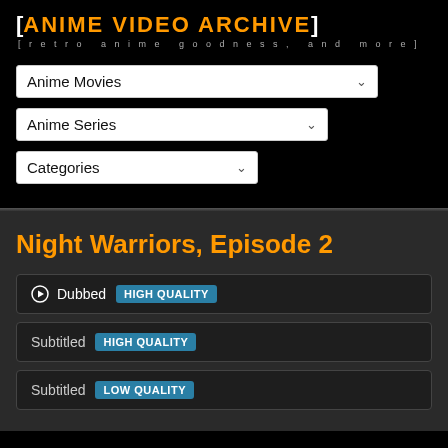ANIME VIDEO ARCHIVE — retro anime goodness, and more
Anime Movies (dropdown)
Anime Series (dropdown)
Categories (dropdown)
Night Warriors, Episode 2
Dubbed HIGH QUALITY
Subtitled HIGH QUALITY
Subtitled LOW QUALITY